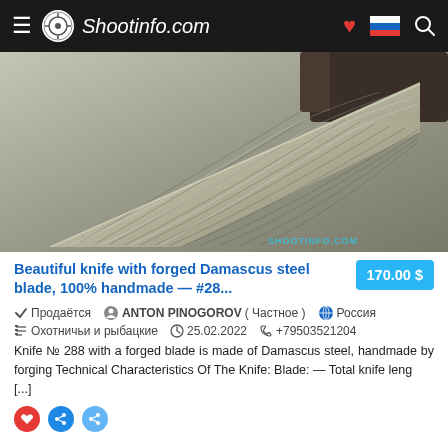Shootinfo.com
[Figure (photo): Close-up photograph of a Damascus steel knife blade with distinctive wavy forged pattern, resting on a grey surface. Watermark reads SHOOTINFO.COM]
Beautiful knife with forged Damascus steel blade, 100% handmade — #28...
170.00 $
✓ Продаётся   ANTON PINOGOROV ( Частное )   🌐 Россия
≡ Охотничьи и рыбацкие   🕐 25.02.2022   📞 +79503521204
Knife № 288 with a forged blade is made of Damascus steel, handmade by forging Technical Characteristics Of The Knife: Blade: — Total knife leng [...]